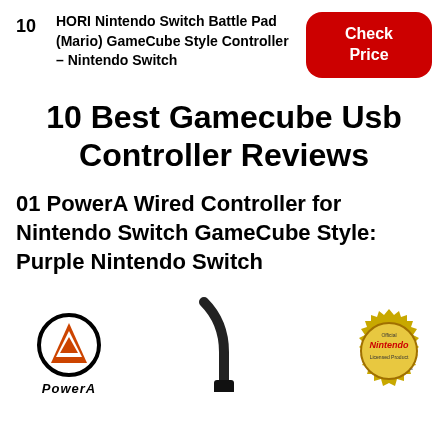10 HORI Nintendo Switch Battle Pad (Mario) GameCube Style Controller – Nintendo Switch [Check Price]
10 Best Gamecube Usb Controller Reviews
01 PowerA Wired Controller for Nintendo Switch GameCube Style: Purple Nintendo Switch
[Figure (logo): PowerA logo (circular arc with triangle) and Nintendo Official Licensed Product badge, with a black USB cable emerging from the bottom center]